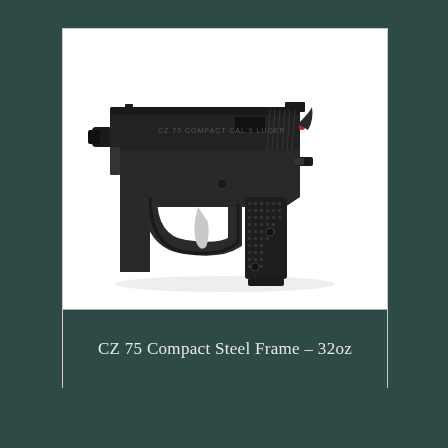[Figure (photo): Photograph of a CZ 75 Compact Steel Frame pistol, black finish, shown in profile (right side) against a white background. The pistol features checkered black grips, a silver trigger, and 'CZ 75 COMPACT CAL 9 LUGER' text on the slide.]
CZ 75 Compact Steel Frame – 32oz